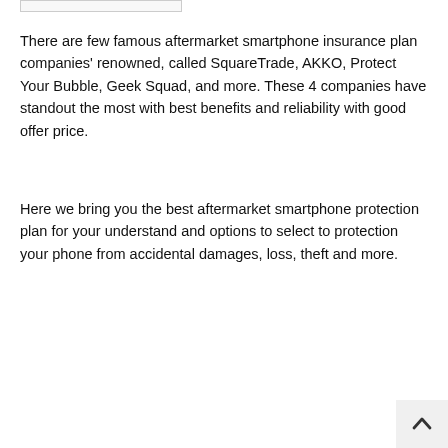There are few famous aftermarket smartphone insurance plan companies' renowned, called SquareTrade, AKKO, Protect Your Bubble, Geek Squad, and more. These 4 companies have standout the most with best benefits and reliability with good offer price.
Here we bring you the best aftermarket smartphone protection plan for your understand and options to select to protection your phone from accidental damages, loss, theft and more.